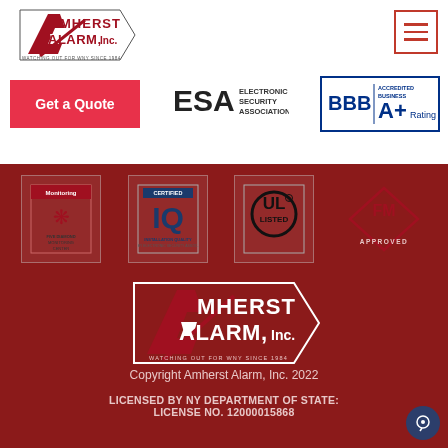[Figure (logo): Amherst Alarm Inc. logo with text 'WATCHING OUT FOR WNY SINCE 1984' - top header]
[Figure (logo): Hamburger menu icon with three red horizontal lines in red border box]
[Figure (logo): Get a Quote pink/red button]
[Figure (logo): ESA Electronic Security Association logo]
[Figure (logo): BBB Accredited Business A+ Rating badge]
[Figure (logo): Five Diamond Monitoring Center certification logo]
[Figure (logo): IQ Installation Quality certification logo]
[Figure (logo): UL Listed certification logo]
[Figure (logo): FM Approved diamond certification logo]
[Figure (logo): Amherst Alarm Inc. logo large white version with 'WATCHING OUT FOR WNY SINCE 1984']
Copyright Amherst Alarm, Inc. 2022
LICENSED BY NY DEPARTMENT OF STATE: LICENSE NO. 12000015868